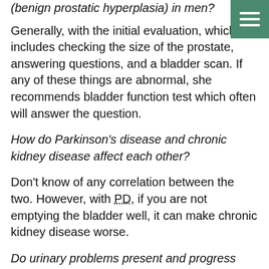(benign prostatic hyperplasia) in men?
Generally, with the initial evaluation, which includes checking the size of the prostate, answering questions, and a bladder scan. If any of these things are abnormal, she recommends bladder function test which often will answer the question.
How do Parkinson’s disease and chronic kidney disease affect each other?
Don’t know of any correlation between the two. However, with PD, if you are not emptying the bladder well, it can make chronic kidney disease worse.
Do urinary problems present and progress differently depending on PD vs. MSA or other atypical Parkinsonism disorders?
With MSA and other atypical Parkinsonism, the urinary problems progress more quickly, and are often are more